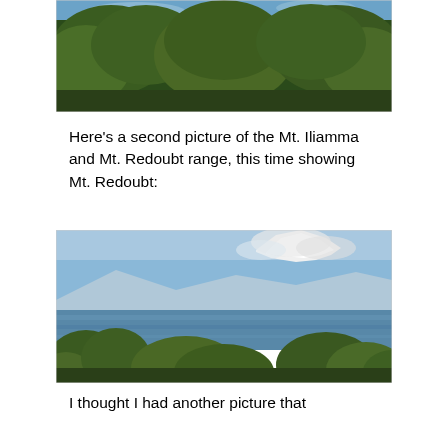[Figure (photo): Photograph showing dense green trees/shrubs from above, with sky visible at top]
Here's a second picture of the Mt. Iliamma and Mt. Redoubt range, this time showing Mt. Redoubt:
[Figure (photo): Photograph of Mt. Redoubt, a snow-capped volcano, visible across a body of water (Cook Inlet), with trees in the foreground and blue sky with clouds above]
I thought I had another picture that